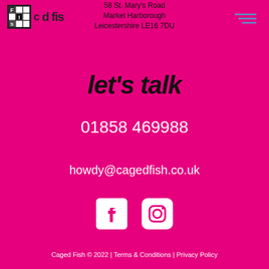58 St. Mary's Road
Market Harborough
Leicestershire LE16 7DU
[Figure (logo): Caged Fish logo with grid box icon, letter c, and d fis text]
let's talk
01858 469988
howdy@cagedfish.co.uk
[Figure (illustration): Facebook and Instagram social media icons in white]
Caged Fish © 2022 | Terms & Conditions | Privacy Policy